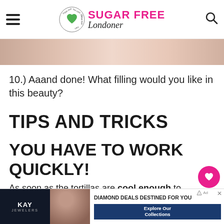Sugar Free Londoner
[Figure (photo): Partial photo of hands working with food, cropped at top of page]
10.) Aaand done! What filling would you like in this beauty?
TIPS AND TRICKS
YOU HAVE TO WORK QUICKLY!
As soon as the tortillas are cool enough to touch - about 10 seconds - and
[Figure (other): Kay Jewelers advertisement banner with couple photo and text: DIAMOND DEALS DESTINED FOR YOU, Explore Our Collections]